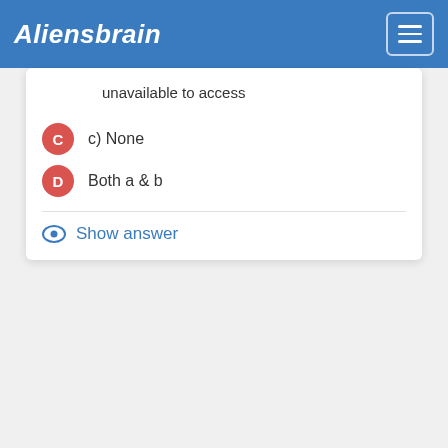Aliensbrain
unavailable to access
c) None
Both a & b
Show answer